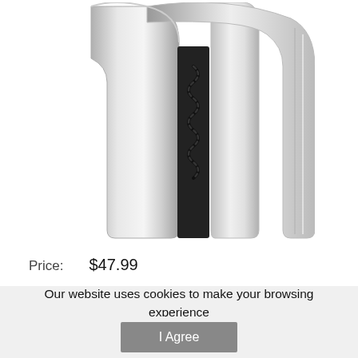[Figure (photo): A stainless steel wine opener / corkscrew viewed from the side, showing the spiral corkscrew worm against a black panel and a chrome lever arm, on white background.]
Price:    $47.99
Our website uses cookies to make your browsing experience better. By using our site you agree to our use of cookies. Learn More
I Agree